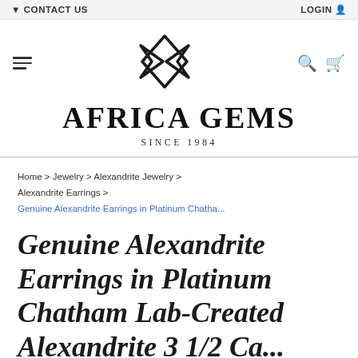▼ CONTACT US   LOGIN
[Figure (logo): Africa Gems geometric diamond logo with overlapping triangles forming a diamond shape]
AFRICA GEMS SINCE 1984
Home > Jewelry > Alexandrite Jewelry > Alexandrite Earrings > Genuine Alexandrite Earrings in Platinum Chatha...
Genuine Alexandrite Earrings in Platinum Chatham Lab-Created Alexandrite 3 1/2 Ca...